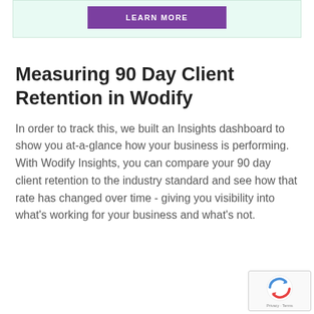[Figure (other): Banner with purple 'LEARN MORE' button on light green background]
Measuring 90 Day Client Retention in Wodify
In order to track this, we built an Insights dashboard to show you at-a-glance how your business is performing. With Wodify Insights, you can compare your 90 day client retention to the industry standard and see how that rate has changed over time - giving you visibility into what’s working for your business and what’s not.
[Figure (logo): reCAPTCHA badge with Privacy and Terms text]